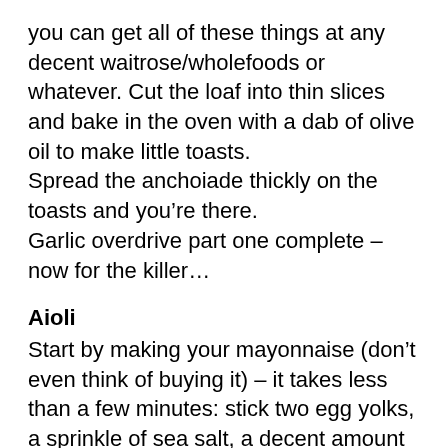you can get all of these things at any decent waitrose/wholefoods or whatever. Cut the loaf into thin slices and bake in the oven with a dab of olive oil to make little toasts.
Spread the anchoiade thickly on the toasts and you're there.
Garlic overdrive part one complete – now for the killer…
Aioli
Start by making your mayonnaise (don't even think of buying it) – it takes less than a few minutes: stick two egg yolks, a sprinkle of sea salt, a decent amount of pepper, a tablespoon of dijon mustard and a good splash of white wine vinegar into a mixer/blender. Set if off at high speed and then start to pour your oil into the mixer very slowly – i tend to use a mix of sunflower oil and rapeseed oil. Don't